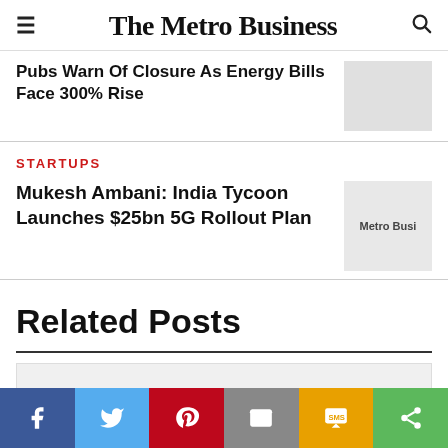The Metro Business
Pubs Warn Of Closure As Energy Bills Face 300% Rise
STARTUPS
Mukesh Ambani: India Tycoon Launches $25bn 5G Rollout Plan
Related Posts